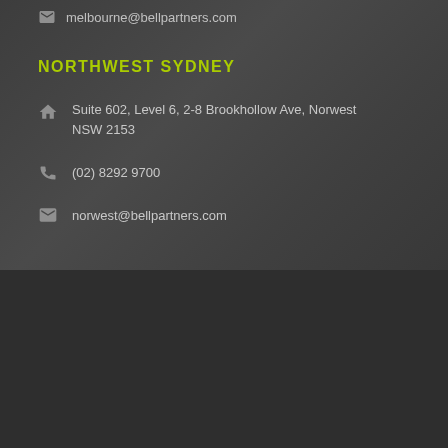melbourne@bellpartners.com
NORTHWEST SYDNEY
Suite 602, Level 6, 2-8 Brookhollow Ave, Norwest NSW 2153
(02) 8292 9700
norwest@bellpartners.com
Copyright All Rights Reserved © 2022 | Managed by Wolf IQ
HOME
WHO WE ARE
SERVICES
CONTACT
INSIGHTS
SITEMAP
PRIVACY POLICY